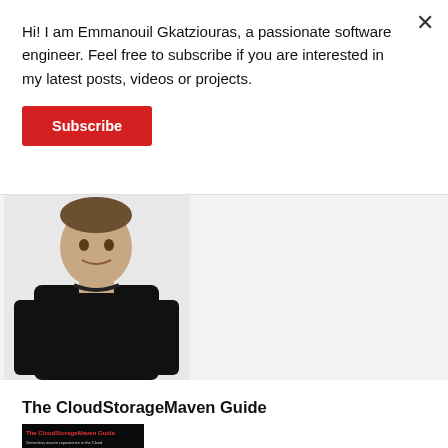Hi! I am Emmanouil Gkatziouras, a passionate software engineer. Feel free to subscribe if you are interested in my latest posts, videos or projects.
[Figure (other): Red Subscribe button]
[Figure (photo): Photo of a man wearing a black sweater against a white background]
The CloudStorageMaven Guide
[Figure (illustration): Book cover of The CloudStorageMaven Guide showing a red cube wireframe on black background with text 'Serverless maven repositories in the Cloud']